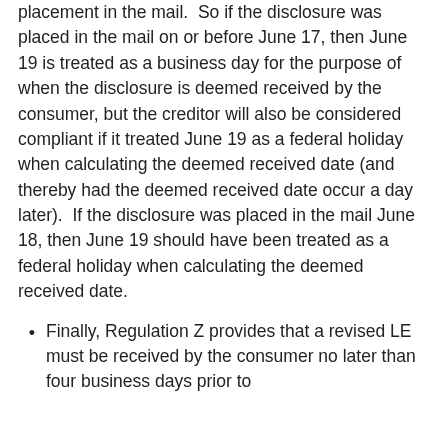placement in the mail.  So if the disclosure was placed in the mail on or before June 17, then June 19 is treated as a business day for the purpose of when the disclosure is deemed received by the consumer, but the creditor will also be considered compliant if it treated June 19 as a federal holiday when calculating the deemed received date (and thereby had the deemed received date occur a day later).  If the disclosure was placed in the mail June 18, then June 19 should have been treated as a federal holiday when calculating the deemed received date.
Finally, Regulation Z provides that a revised LE must be received by the consumer no later than four business days prior to